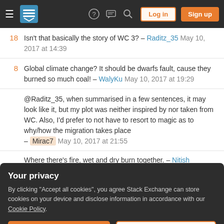Stack Exchange navigation bar with hamburger menu, logo, help, chat, search icons, Log in and Sign up buttons
18  Isn't that basically the story of WC 3? – Raditz_35 May 10, 2017 at 14:39
8  Global climate change? It should be dwarfs fault, cause they burned so much coal! – WalyKu May 10, 2017 at 19:29
@Raditz_35, when summarised in a few sentences, it may look like it, but my plot was neither inspired by nor taken from WC. Also, I'd prefer to not have to resort to magic as to why/how the migration takes place – Mirac7 May 10, 2017 at 21:55
Where there's fire, wet and dry burn together. – Nitish
Your privacy
By clicking "Accept all cookies", you agree Stack Exchange can store cookies on your device and disclose information in accordance with our Cookie Policy.
Accept all cookies  Customize settings
Sorted by: